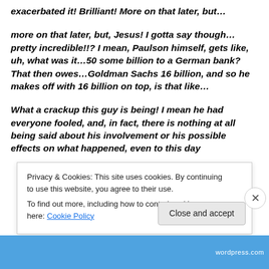exacerbated it! Brilliant! More on that later, but…
more on that later, but, Jesus! I gotta say though… pretty incredible!!? I mean, Paulson himself, gets like, uh, what was it…50 some billion to a German bank? That then owes…Goldman Sachs 16 billion, and so he makes off with 16 billion on top, is that like…
What a crackup this guy is being! I mean he had everyone fooled, and, in fact, there is nothing at all being said about his involvement or his possible effects on what happened, even to this day
Privacy & Cookies: This site uses cookies. By continuing to use this website, you agree to their use.
To find out more, including how to control cookies, see here: Cookie Policy